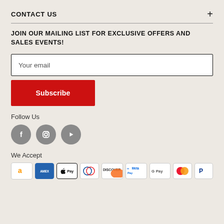CONTACT US
JOIN OUR MAILING LIST FOR EXCLUSIVE OFFERS AND SALES EVENTS!
Your email
Subscribe
Follow Us
[Figure (illustration): Three social media icons: Facebook, Instagram, YouTube in grey circles]
We Accept
[Figure (illustration): Payment method icons: Amazon, American Express, Apple Pay, Diners Club, Discover, Meta Pay, Google Pay, Mastercard, PayPal]